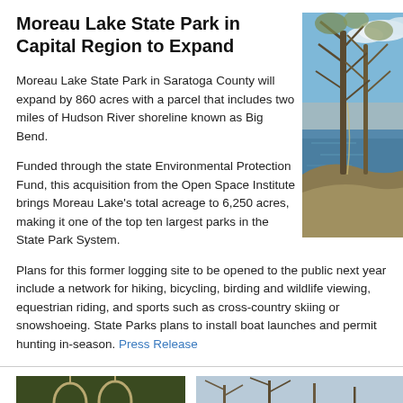Moreau Lake State Park in Capital Region to Expand
Moreau Lake State Park in Saratoga County will expand by 860 acres with a parcel that includes two miles of Hudson River shoreline known as Big Bend.
[Figure (photo): Trees along the Hudson River shoreline with blue water and sky visible]
Funded through the state Environmental Protection Fund, this acquisition from the Open Space Institute brings Moreau Lake’s total acreage to 6,250 acres, making it one of the top ten largest parks in the State Park System.
Plans for this former logging site to be opened to the public next year include a network for hiking, bicycling, birding and wildlife viewing, equestrian riding, and sports such as cross-country skiing or snowshoeing. State Parks plans to install boat launches and permit hunting in-season. Press Release
[Figure (photo): Dark green background with two hanging rings or loops visible]
[Figure (photo): Bare winter trees in a natural landscape]